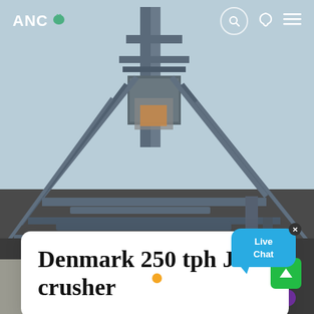[Figure (photo): Photograph of an industrial jaw crusher facility with steel structural framework, conveyor belts, and machinery components against a light blue sky background.]
ANC
Denmark 250 tph Jaw crusher
[Figure (other): Live Chat speech bubble button in blue with 'Live Chat' text and a close (x) button]
[Figure (other): Slide indicator dots: three dots, middle one orange/active, others white. Scroll-to-top green button with up arrow.]